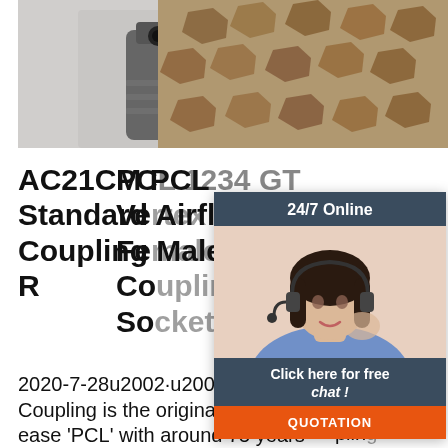[Figure (photo): Photo of PCL Standard Airflow Coupling Male Thread R product, showing metal coupling nozzle against light background]
AC21CM PCL Standard Airflow Coupling Male Thread R
2020-7-28u2002·u2002The Airflow Coupling is the original quick release 'PCL' with around 75 years
[Figure (photo): Photo showing multiple small metal connector pieces scattered on surface]
PCL ... Vertex Female Coupling So PCL rtex coupling (698GT) 1 of 1 (100%) reviewers would recommend this product. Be the first to ask
[Figure (other): 24/7 Online chat widget with photo of female customer service agent, 'Click here for free chat!' text and QUOTATION button]